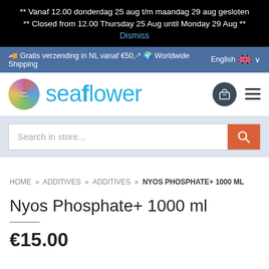** Vanaf 12.00 donderdag 25 aug t/m maandag 29 aug gesloten
** Closed from 12.00 Thursday 25 Aug until Monday 29 Aug **
Dismiss
🚚 Gratis verzending in NL vanaf €50,- 🌍 Worldwide Shipping    English 🇬🇧 ∨
[Figure (logo): Seaflower webshop logo: circular colorful coral logo and 'seaflower' brand name in blue text]
Search in store...
HOME » ADDITIVES » ADDITIVES » NYOS PHOSPHATE+ 1000 ML
Nyos Phosphate+ 1000 ml
€15.00